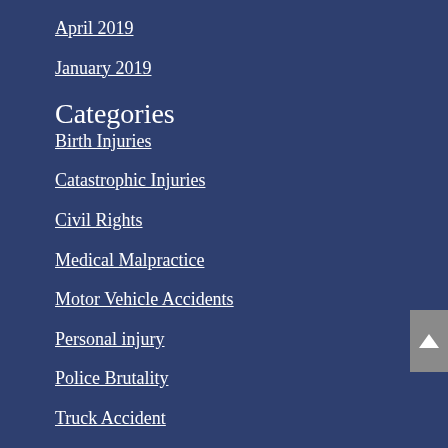April 2019
January 2019
Categories
Birth Injuries
Catastrophic Injuries
Civil Rights
Medical Malpractice
Motor Vehicle Accidents
Personal injury
Police Brutality
Truck Accident
Uncategorized